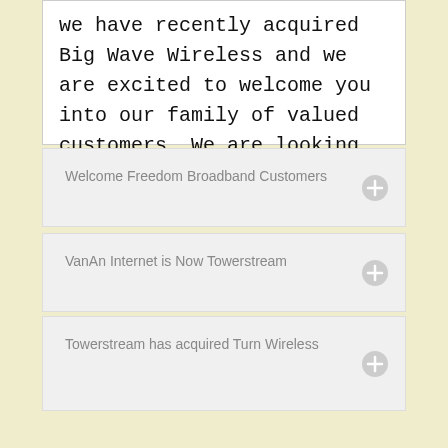we have recently acquired Big Wave Wireless and we are excited to welcome you into our family of valued customers. We are looking forward to serving your Internet needs.
Welcome Freedom Broadband Customers
VanAn Internet is Now Towerstream
Towerstream has acquired Turn Wireless